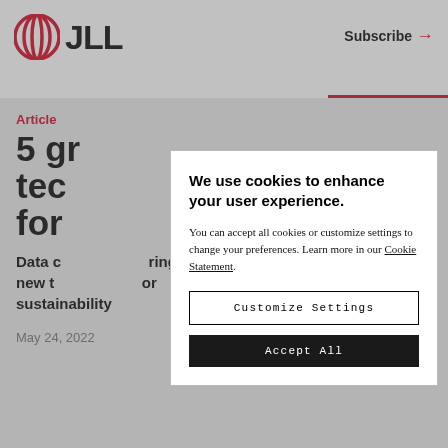JLL | Subscribe →
Article
5 gr... tec... ch for...
Data c... ring new t... or sustainability
May 24, 2022
We use cookies to enhance your user experience. You can accept all cookies or customize settings to change your preferences. Learn more in our Cookie Statement.
Customize Settings
Accept All